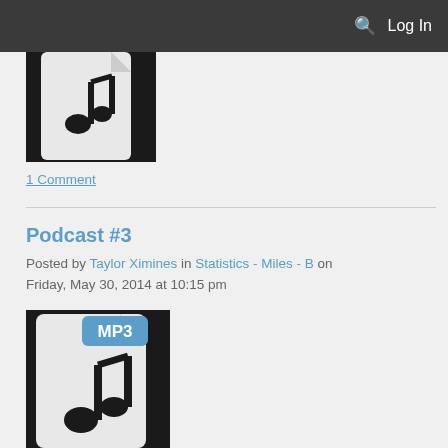Log In
[Figure (illustration): Partial MP3 file icon with music note, cropped at top]
1 Comment
Podcast #3
Posted by Taylor Ximines in Statistics - Miles - B on Friday, May 30, 2014 at 10:15 pm
[Figure (illustration): MP3 file icon with music note and blue MP3 badge label]
1 Comment